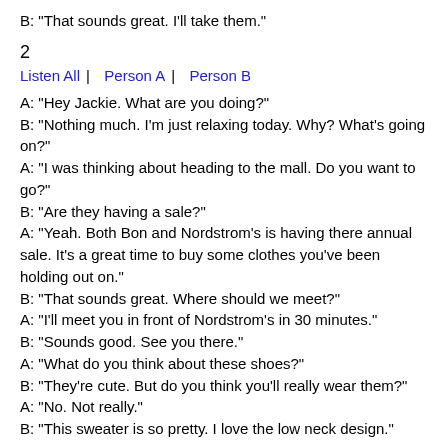B: "That sounds great. I'll take them."
2
Listen All  |   Person A  |   Person B
A: "Hey Jackie. What are you doing?"
B: "Nothing much. I'm just relaxing today. Why? What's going on?"
A: "I was thinking about heading to the mall. Do you want to go?"
B: "Are they having a sale?"
A: "Yeah. Both Bon and Nordstrom's is having there annual sale. It's a great time to buy some clothes you've been holding out on."
B: "That sounds great. Where should we meet?"
A: "I'll meet you in front of Nordstrom's in 30 minutes."
B: "Sounds good. See you there."
A: "What do you think about these shoes?"
B: "They're cute. But do you think you'll really wear them?"
A: "No. Not really."
B: "This sweater is so pretty. I love the low neck design."